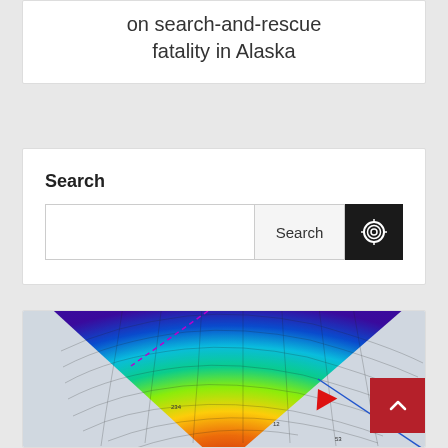on search-and-rescue fatality in Alaska
Search
[Figure (screenshot): Search box UI with text input field, 'Search' button, and a dark icon button with a spiral/target icon.]
[Figure (map): Fan-shaped topographic/bathymetric map visualization with rainbow color gradient (red/orange at bottom to blue/purple at top) showing contour lines and elevation data. A red arrow marker and blue line are visible in the lower right portion. A dashed purple line extends toward the upper left. Small text labels are scattered across the map.]